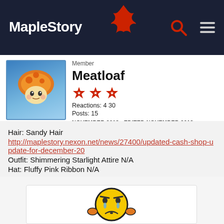MapleStory
Member
Meatloaf
Reactions: 4 30
Posts: 15
NOVEMBER 2018   EDITED NOVEMBER 2018
Hair: Sandy Hair
http://maplestory.nexon.net/news/27400/updated-cash-shop-update-for-december-20
Outfit: Shimmering Starlight Attire N/A
Hat: Fluffy Pink Ribbon N/A
[Figure (illustration): A yellow cartoon emoji face with an angry/frustrated expression, showing furrowed brows, blue teardrop shapes, and orange hands on sides of head, with an open frown mouth]